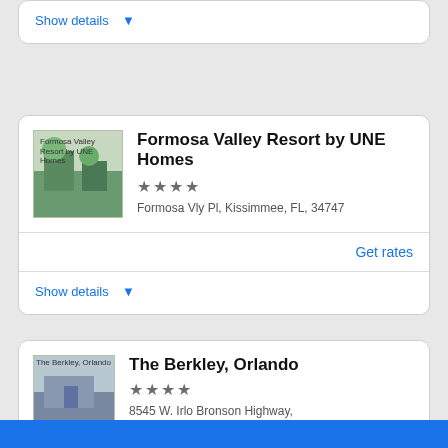Show details ▾
Formosa Valley Resort by UNE Homes
★★★★
Formosa Vly Pl, Kissimmee, FL, 34747
Get rates
Show details ▾
The Berkley, Orlando
★★★★
8545 W. Irlo Bronson Highway, Kissimmee, FL, 34747